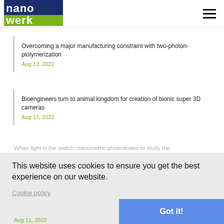nanowerk
Overcoming a major manufacturing constraint with two-photon-piolymerization
Aug 13, 2022
Bioengineers turn to animal kingdom for creation of bionic super 3D cameras
Aug 13, 2022
When light is the switch: nanometric photodiodes to study the
This website uses cookies to ensure you get the best experience on our website.
Cookie policy
Got it!
Aug 11, 2022